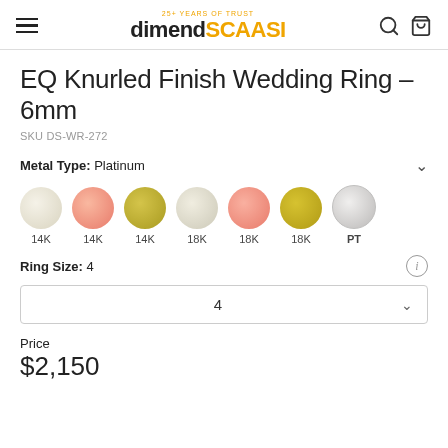dimendSCAASI — 25+ Years of Trust
EQ Knurled Finish Wedding Ring – 6mm
SKU DS-WR-272
Metal Type: Platinum
[Figure (other): Seven metal type swatches: 14K white gold, 14K rose gold, 14K yellow gold, 18K white gold, 18K rose gold, 18K yellow gold, Platinum (PT)]
Ring Size: 4
4
Price